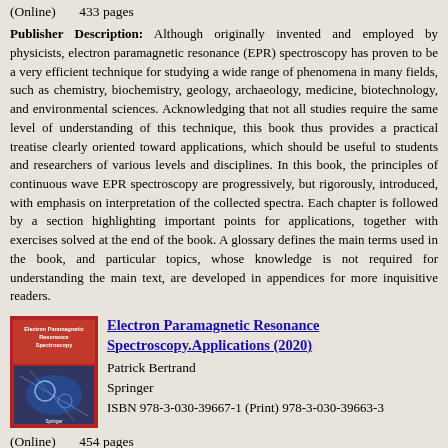(Online)      433 pages
Publisher Description: Although originally invented and employed by physicists, electron paramagnetic resonance (EPR) spectroscopy has proven to be a very efficient technique for studying a wide range of phenomena in many fields, such as chemistry, biochemistry, geology, archaeology, medicine, biotechnology, and environmental sciences. Acknowledging that not all studies require the same level of understanding of this technique, this book thus provides a practical treatise clearly oriented toward applications, which should be useful to students and researchers of various levels and disciplines. In this book, the principles of continuous wave EPR spectroscopy are progressively, but rigorously, introduced, with emphasis on interpretation of the collected spectra. Each chapter is followed by a section highlighting important points for applications, together with exercises solved at the end of the book. A glossary defines the main terms used in the book, and particular topics, whose knowledge is not required for understanding the main text, are developed in appendices for more inquisitive readers.
[Figure (photo): Book cover of Electron Paramagnetic Resonance Spectroscopy Applications (2020) - red cover with blue microscopy image]
Electron Paramagnetic Resonance Spectroscopy.Applications (2020)
Patrick Bertrand
Springer
ISBN 978-3-030-39667-1 (Print) 978-3-030-39663-3 (Online)      454 pages
Publisher Description: This book shows how the fundamentals of electron paramagnetic resonance (EPR) spectroscopy are practically implemented and illustrates the diversity of current applications. The technique is used at various levels, and applications are presented in order of increasing difficulty, with reference to theoretically obtained results. This book features a diverse array of application examples, from fields such as ionizing radiation dosimetry,